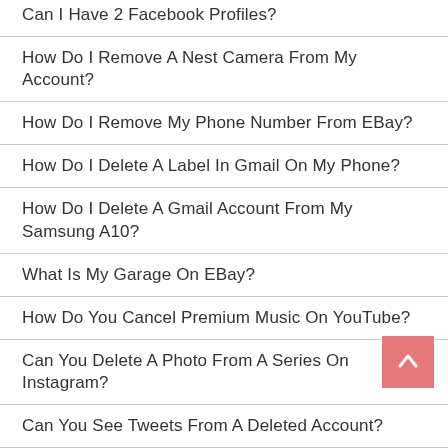Can I Have 2 Facebook Profiles?
How Do I Remove A Nest Camera From My Account?
How Do I Remove My Phone Number From EBay?
How Do I Delete A Label In Gmail On My Phone?
How Do I Delete A Gmail Account From My Samsung A10?
What Is My Garage On EBay?
How Do You Cancel Premium Music On YouTube?
Can You Delete A Photo From A Series On Instagram?
Can You See Tweets From A Deleted Account?
How Do I Permanently Delete Photos From Google Photos?
How Do I Delete My Messenger Account?